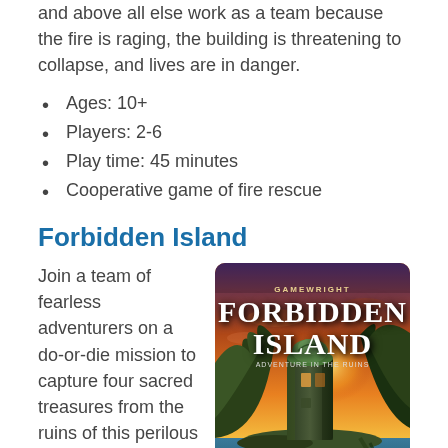and above all else work as a team because the fire is raging, the building is threatening to collapse, and lives are in danger.
Ages: 10+
Players: 2-6
Play time: 45 minutes
Cooperative game of fire rescue
Forbidden Island
Join a team of fearless adventurers on a do-or-die mission to capture four sacred treasures from the ruins of this perilous paradise. Your team will have to work together and make some
[Figure (illustration): Book cover of Forbidden Island board game showing a dramatic fantasy scene of a sinking island with a tower, jungle, and warm sunset sky. Title 'FORBIDDEN ISLAND' in large bold letters.]